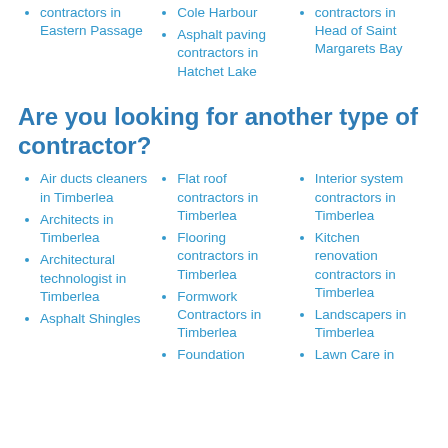contractors in Eastern Passage
Cole Harbour
Asphalt paving contractors in Hatchet Lake
contractors in Head of Saint Margarets Bay
Are you looking for another type of contractor?
Air ducts cleaners in Timberlea
Architects in Timberlea
Architectural technologist in Timberlea
Asphalt Shingles
Flat roof contractors in Timberlea
Flooring contractors in Timberlea
Formwork Contractors in Timberlea
Foundation
Interior system contractors in Timberlea
Kitchen renovation contractors in Timberlea
Landscapers in Timberlea
Lawn Care in